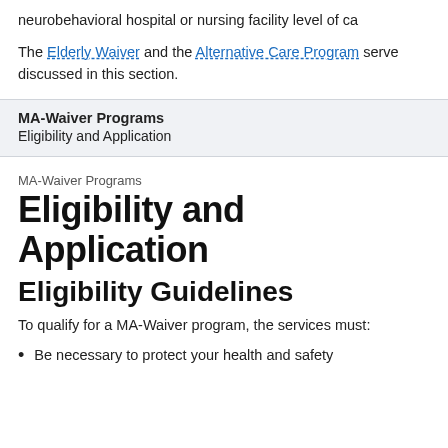neurobehavioral hospital or nursing facility level of ca
The Elderly Waiver and the Alternative Care Program serve discussed in this section.
| MA-Waiver Programs |  |
| --- | --- |
| Eligibility and Application |  |
MA-Waiver Programs
Eligibility and Application
Eligibility Guidelines
To qualify for a MA-Waiver program, the services must:
Be necessary to protect your health and safety